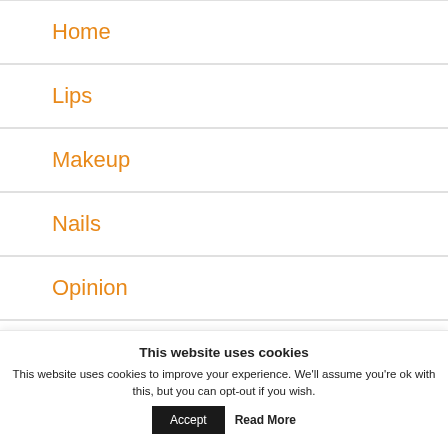Home
Lips
Makeup
Nails
Opinion
Review
Shopping
This website uses cookies
This website uses cookies to improve your experience. We'll assume you're ok with this, but you can opt-out if you wish.
Accept  Read More